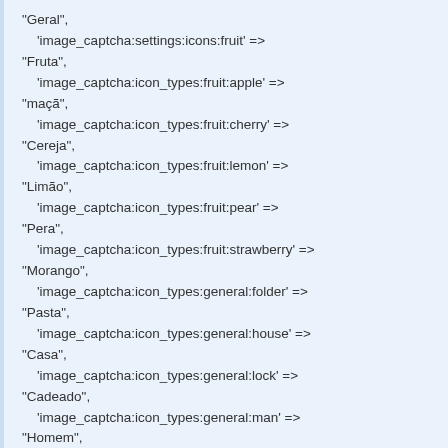"Geral",
    'image_captcha:settings:icons:fruit' =>
"Fruta",
    'image_captcha:icon_types:fruit:apple' =>
"maçã",
    'image_captcha:icon_types:fruit:cherry' =>
"Cereja",
    'image_captcha:icon_types:fruit:lemon' =>
"Limão",
    'image_captcha:icon_types:fruit:pear' =>
"Pera",
    'image_captcha:icon_types:fruit:strawberry' =>
"Morango",
    'image_captcha:icon_types:general:folder' =>
"Pasta",
    'image_captcha:icon_types:general:house' =>
"Casa",
    'image_captcha:icon_types:general:lock' =>
"Cadeado",
    'image_captcha:icon_types:general:man' =>
"Homem",
    'image_captcha:icon_types:general:monitor'
=> "Monitor",
    'image_captcha:icon_types:general:rss' =>